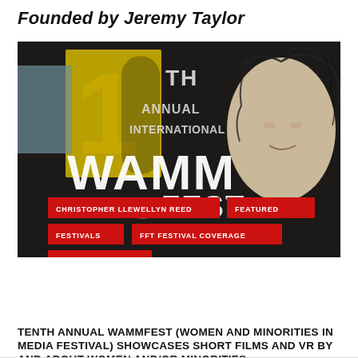Founded by Jeremy Taylor
[Figure (photo): Festival poster/banner for the 10th Annual International WAMMFest (Women and Minorities in Media Festival). Dark background with large white and yellow text showing '10TH ANNUAL INTERNATIONAL WAMMFEST' in bold letters, overlaid with an illustrated graphic of a woman's face. Red tag labels are overlaid showing: CHRISTOPHER LLEWELLYN REED, FEATURED, FESTIVALS, FFT FESTIVAL COVERAGE, VIRTUAL REALITY.]
TENTH ANNUAL WAMMFEST (WOMEN AND MINORITIES IN MEDIA FESTIVAL) SHOWCASES SHORT FILMS AND VR BY AND ABOUT WOMEN AND/OR MINORITIES
APRIL 26, 2017